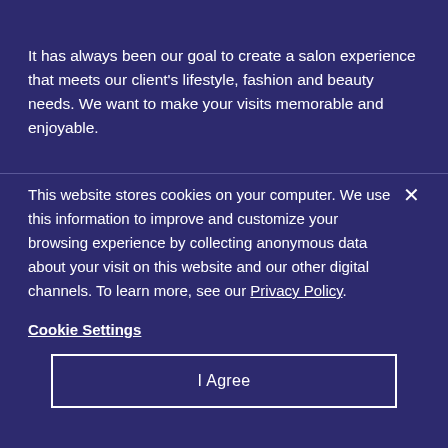It has always been our goal to create a salon experience that meets our client's lifestyle, fashion and beauty needs. We want to make your visits memorable and enjoyable.
This website stores cookies on your computer. We use this information to improve and customize your browsing experience by collecting anonymous data about your visit on this website and our other digital channels. To learn more, see our Privacy Policy.
Cookie Settings
I Agree